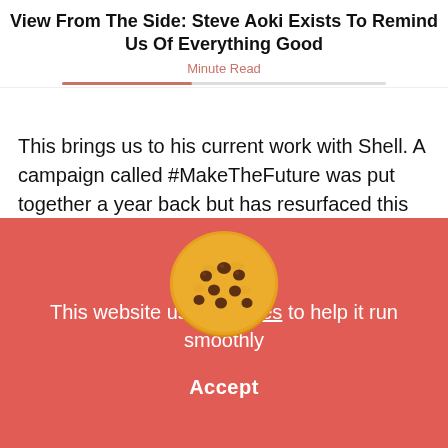View From The Side: Steve Aoki Exists To Remind Us Of Everything Good
Minute Read
This brings us to his current work with Shell. A campaign called #MakeTheFuture was put together a year back but has resurfaced this week like an unflushable turd. Here's the current tweet – including f[...] aoki gif – that Shell
[Figure (illustration): A chocolate chip cookie emoji/illustration, round and golden brown with multiple chocolate chips.]
This website uses cookies to help it run smoothly
Accept